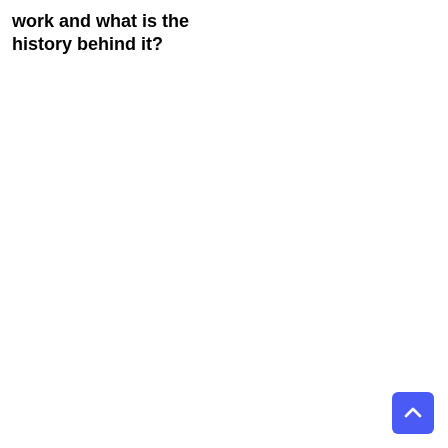work and what is the history behind it?
[Figure (other): Back to top button — a blue rounded square with a white upward-pointing chevron arrow in the bottom-right corner of the page]